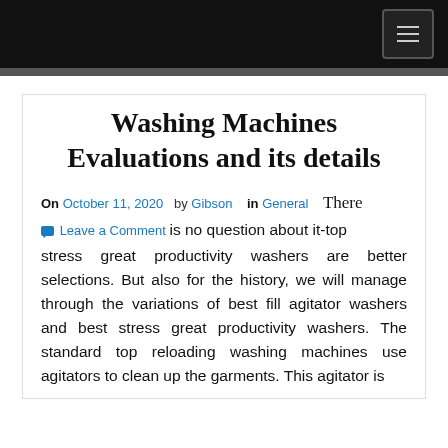[Navigation bar with menu button]
Washing Machines Evaluations and its details
On October 11, 2020 by Gibson in General There Leave a Comment is no question about it-top stress great productivity washers are better selections. But also for the history, we will manage through the variations of best fill agitator washers and best stress great productivity washers. The standard top reloading washing machines use agitators to clean up the garments. This agitator is